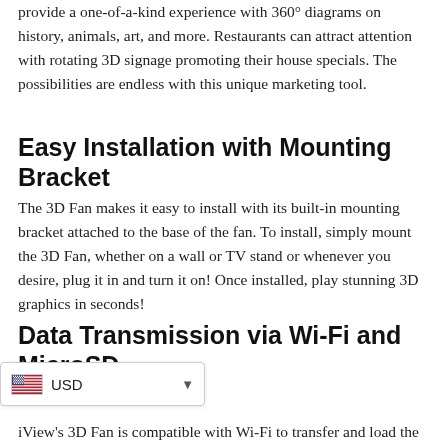provide a one-of-a-kind experience with 360° diagrams on history, animals, art, and more. Restaurants can attract attention with rotating 3D signage promoting their house specials. The possibilities are endless with this unique marketing tool.
Easy Installation with Mounting Bracket
The 3D Fan makes it easy to install with its built-in mounting bracket attached to the base of the fan. To install, simply mount the 3D Fan, whether on a wall or TV stand or whenever you desire, plug it in and turn it on! Once installed, play stunning 3D graphics in seconds!
Data Transmission via Wi-Fi and MicroSD Card
[Figure (other): Currency selector widget showing USD with a US flag icon and dropdown arrow]
iView's 3D Fan is compatible with Wi-Fi to transfer and load the